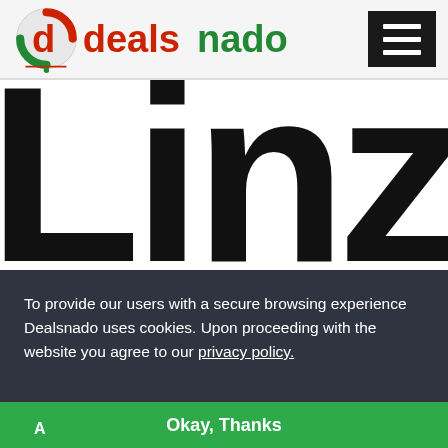[Figure (logo): Dealsnado logo — circular red and green brand mark with 'd' letterform, followed by the text 'dealsnado' in red and green]
[Figure (screenshot): Linzi brand name in large bold black sans-serif letters, partially cropped, on white background]
To provide our users with a secure browsing experience Dealsnado uses cookies. Upon proceeding with the website you agree to our privacy policy.
Okay, Thanks